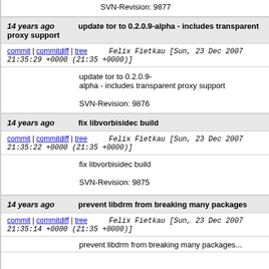SVN-Revision: 9877
14 years ago   update tor to 0.2.0.9-alpha - includes transparent proxy support
commit | commitdiff | tree   Felix Fietkau [Sun, 23 Dec 2007 21:35:29 +0000 (21:35 +0000)]
update tor to 0.2.0.9-alpha - includes transparent proxy support

SVN-Revision: 9876
14 years ago   fix libvorbisidec build
commit | commitdiff | tree   Felix Fietkau [Sun, 23 Dec 2007 21:35:22 +0000 (21:35 +0000)]
fix libvorbisidec build

SVN-Revision: 9875
14 years ago   prevent libdrm from breaking many packages
commit | commitdiff | tree   Felix Fietkau [Sun, 23 Dec 2007 21:35:14 +0000 (21:35 +0000)]
prevent libdrm from breaking...